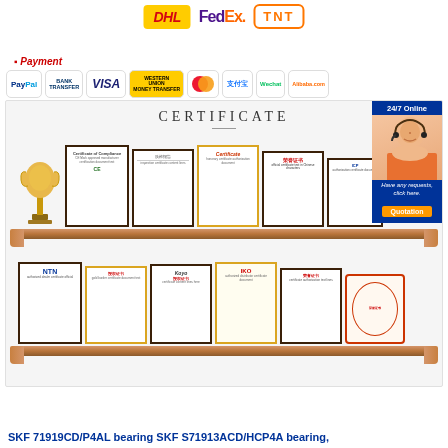[Figure (logo): DHL, FedEx, and TNT shipping company logos]
Payment
[Figure (logo): Payment method logos: PayPal, Bank Transfer, VISA, Western Union, MasterCard, Alipay, WeChat, Alibaba.com]
[Figure (photo): Certificate display section showing two shelves with framed certificates/awards including a trophy, CE certificates, NTN, Koyo, IKO certificates, and a 24/7 online customer service badge]
SKF 71919CD/P4AL bearing SKF S71913ACD/HCP4A bearing,